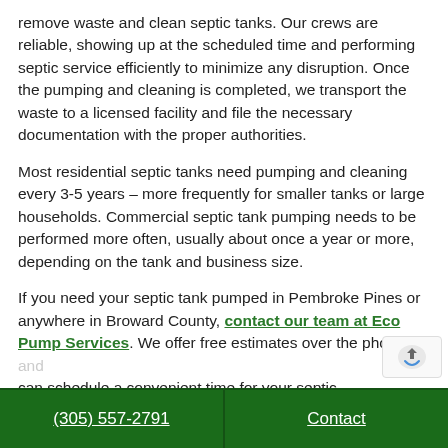remove waste and clean septic tanks. Our crews are reliable, showing up at the scheduled time and performing septic service efficiently to minimize any disruption. Once the pumping and cleaning is completed, we transport the waste to a licensed facility and file the necessary documentation with the proper authorities.
Most residential septic tanks need pumping and cleaning every 3-5 years – more frequently for smaller tanks or large households. Commercial septic tank pumping needs to be performed more often, usually about once a year or more, depending on the tank and business size.
If you need your septic tank pumped in Pembroke Pines or anywhere in Broward County, contact our team at Eco Pump Services. We offer free estimates over the pho... and can schedule a convenient time for your septic...
(305) 557-2791   Contact